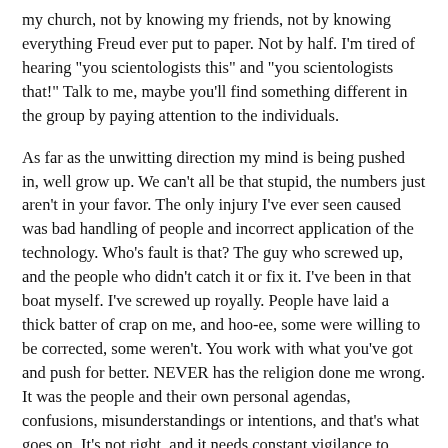my church, not by knowing my friends, not by knowing everything Freud ever put to paper. Not by half. I'm tired of hearing "you scientologists this" and "you scientologists that!" Talk to me, maybe you'll find something different in the group by paying attention to the individuals.
As far as the unwitting direction my mind is being pushed in, well grow up. We can't all be that stupid, the numbers just aren't in your favor. The only injury I've ever seen caused was bad handling of people and incorrect application of the technology. Who's fault is that? The guy who screwed up, and the people who didn't catch it or fix it. I've been in that boat myself. I've screwed up royally. People have laid a thick batter of crap on me, and hoo-ee, some were willing to be corrected, some weren't. You work with what you've got and push for better. NEVER has the religion done me wrong. It was the people and their own personal agendas, confusions, misunderstandings or intentions, and that's what goes on. It's not right, and it needs constant vigilance to correct. Often it takes balls. I don't care if Ron walked on water or yelled at house plants. He put some awesome things into writing, and some miraculous things into application. The people furthering his dream deserve some respect--their hearts are often in the right place. When they aren't, do something about it, not complain.
Me blind? Selective memory? A sucker? A scam-artist? Don't know me. And don't insult me by inferring I did it then. As far...